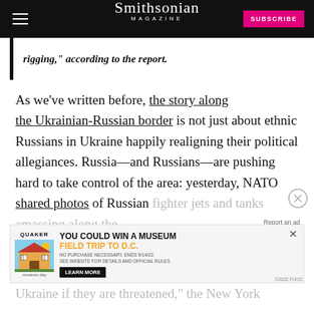Smithsonian MAGAZINE
rigging," according to the report.
As we've written before, the story along the Ukrainian-Russian border is not just about ethnic Russians in Ukraine happily realigning their political allegiances. Russia—and Russians—are pushing hard to take control of the area: yesterday, NATO shared photos of Russian fighter jets and tanks amassing along the border...military...Ukraine if they are threatened," the New York
[Figure (other): Advertisement banner: Quaker Museum Day promotion — YOU COULD WIN A MUSEUM FIELD TRIP TO D.C. LEARN MORE]